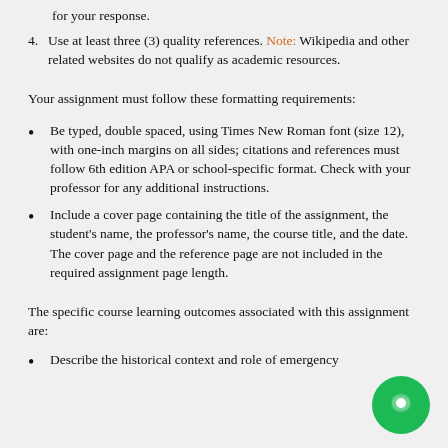4. Use at least three (3) quality references. Note: Wikipedia and other related websites do not qualify as academic resources.
Your assignment must follow these formatting requirements:
Be typed, double spaced, using Times New Roman font (size 12), with one-inch margins on all sides; citations and references must follow 6th edition APA or school-specific format. Check with your professor for any additional instructions.
Include a cover page containing the title of the assignment, the student's name, the professor's name, the course title, and the date. The cover page and the reference page are not included in the required assignment page length.
The specific course learning outcomes associated with this assignment are:
Describe the historical context and role of emergency